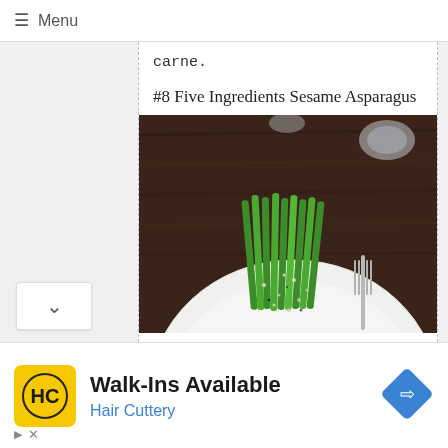≡ Menu
carne.
#8 Five Ingredients Sesame Asparagus
[Figure (photo): Photo of sesame asparagus on a white plate with a fork, on a dark wooden table background]
Walk-Ins Available
Hair Cuttery